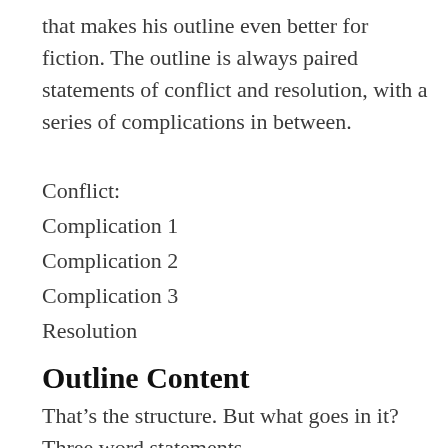that makes his outline even better for fiction. The outline is always paired statements of conflict and resolution, with a series of complications in between.
Conflict:
Complication 1
Complication 2
Complication 3
Resolution
Outline Content
That’s the structure. But what goes in it? Three word statements.
The first word is the character (or situation) who is taking the main action of the scene…